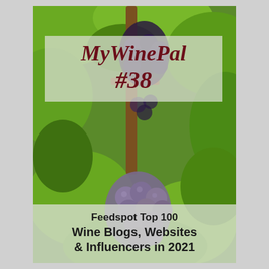[Figure (illustration): Photograph of grapevines with clusters of dark purple/blue grapes hanging among green leaves, used as a background image for a wine blog badge/award image.]
MyWinePal #38
Feedspot Top 100 Wine Blogs, Websites & Influencers in 2021